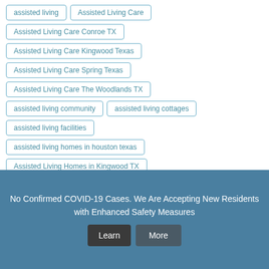assisted living
Assisted Living Care
Assisted Living Care Conroe TX
Assisted Living Care Kingwood Texas
Assisted Living Care Spring Texas
Assisted Living Care The Woodlands TX
assisted living community
assisted living cottages
assisted living facilities
assisted living homes in houston texas
Assisted Living Homes in Kingwood TX
No Confirmed COVID-19 Cases. We Are Accepting New Residents with Enhanced Safety Measures
Learn More